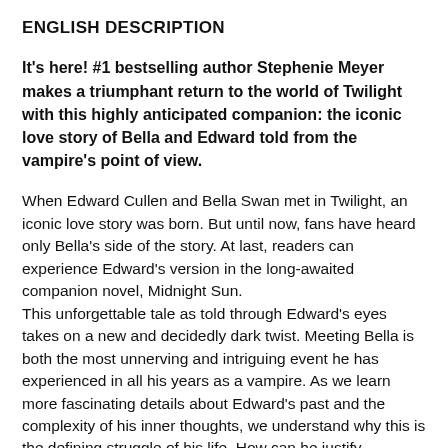ENGLISH DESCRIPTION
It's here! #1 bestselling author Stephenie Meyer makes a triumphant return to the world of Twilight with this highly anticipated companion: the iconic love story of Bella and Edward told from the vampire's point of view.
When Edward Cullen and Bella Swan met in Twilight, an iconic love story was born. But until now, fans have heard only Bella's side of the story. At last, readers can experience Edward's version in the long-awaited companion novel, Midnight Sun. This unforgettable tale as told through Edward's eyes takes on a new and decidedly dark twist. Meeting Bella is both the most unnerving and intriguing event he has experienced in all his years as a vampire. As we learn more fascinating details about Edward's past and the complexity of his inner thoughts, we understand why this is the defining struggle of his life. How can he justify following his heart if it means leading Bella into danger? In Midnight Sun, Stephenie Meyer transports us back to a world that has captivated millions of readers and brings us an epic